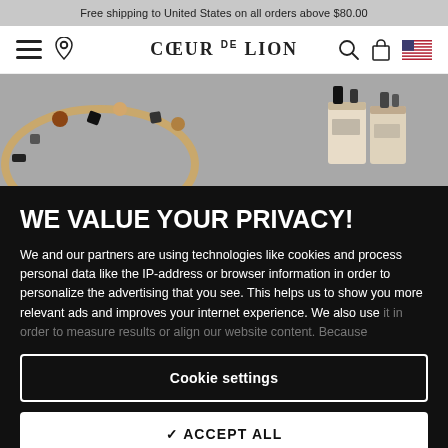Free shipping to United States on all orders above $80.00
[Figure (screenshot): Coeur de Lion jewelry brand navigation bar with hamburger menu, location pin, logo, search, cart, and US flag icons]
[Figure (photo): Coeur de Lion jewelry products - bracelet on left, perfume bottles on right, on grey background]
WE VALUE YOUR PRIVACY!
We and our partners are using technologies like cookies and process personal data like the IP-address or browser information in order to personalize the advertising that you see. This helps us to show you more relevant ads and improves your internet experience. We also use it in order to measure results or align our website content. Because
Cookie settings
✓ ACCEPT ALL